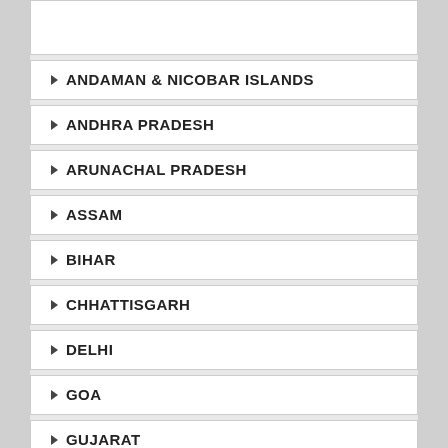ANDAMAN & NICOBAR ISLANDS
ANDHRA PRADESH
ARUNACHAL PRADESH
ASSAM
BIHAR
CHHATTISGARH
DELHI
GOA
GUJARAT
HARYANA
HIMACHAL PRADESH